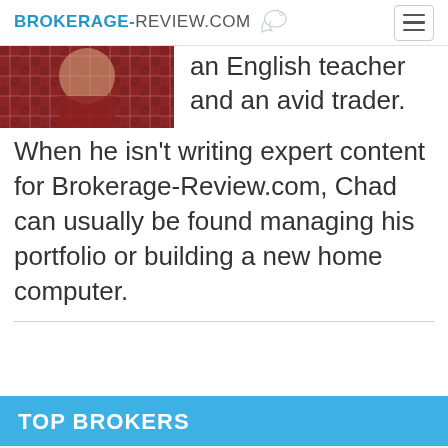BROKERAGE-REVIEW.COM
[Figure (photo): Author photo showing person in plaid shirt]
an English teacher and an avid trader. When he isn't writing expert content for Brokerage-Review.com, Chad can usually be found managing his portfolio or building a new home computer.
TOP BROKERS